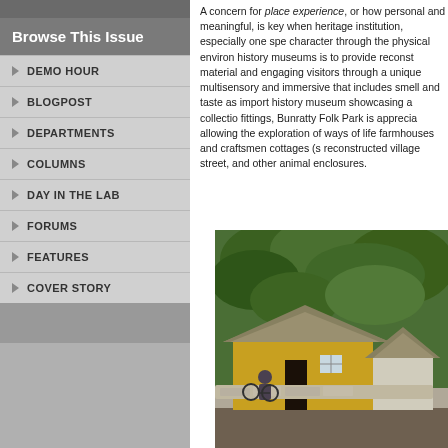Browse This Issue
DEMO HOUR
BLOGPOST
DEPARTMENTS
COLUMNS
DAY IN THE LAB
FORUMS
FEATURES
COVER STORY
A concern for place experience, or how personal and meaningful, is key when heritage institution, especially one spe character through the physical environ history museums is to provide reconst material and engaging visitors through a unique multisensory and immersive that includes smell and taste as import history museum showcasing a collectio fittings, Bunratty Folk Park is apprecia allowing the exploration of ways of life farmhouses and craftsmen cottages (s reconstructed village street, and other animal enclosures.
[Figure (photo): Photograph of a yellow-walled thatched cottage building at Bunratty Folk Park, with lush green trees in the background, a stone wall in the foreground, and a person sitting near the entrance.]